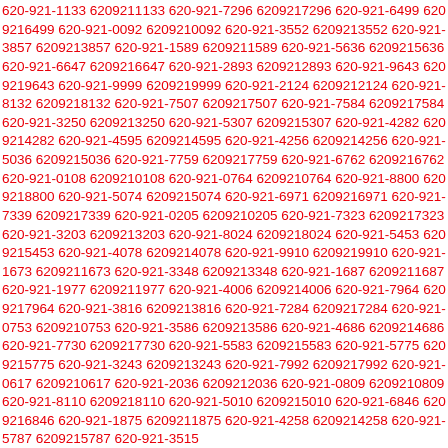620-921-1133 6209211133 620-921-7296 6209217296 620-921-6499 6209216499 620-921-0092 6209210092 620-921-3552 6209213552 620-921-3857 6209213857 620-921-1589 6209211589 620-921-5636 6209215636 620-921-6647 6209216647 620-921-2893 6209212893 620-921-9643 6209219643 620-921-9999 6209219999 620-921-2124 6209212124 620-921-8132 6209218132 620-921-7507 6209217507 620-921-7584 6209217584 620-921-3250 6209213250 620-921-5307 6209215307 620-921-4282 6209214282 620-921-4595 6209214595 620-921-4256 6209214256 620-921-5036 6209215036 620-921-7759 6209217759 620-921-6762 6209216762 620-921-0108 6209210108 620-921-0764 6209210764 620-921-8800 6209218800 620-921-5074 6209215074 620-921-6971 6209216971 620-921-7339 6209217339 620-921-0205 6209210205 620-921-7323 6209217323 620-921-3203 6209213203 620-921-8024 6209218024 620-921-5453 6209215453 620-921-4078 6209214078 620-921-9910 6209219910 620-921-1673 6209211673 620-921-3348 6209213348 620-921-1687 6209211687 620-921-1977 6209211977 620-921-4006 6209214006 620-921-7964 6209217964 620-921-3816 6209213816 620-921-7284 6209217284 620-921-0753 6209210753 620-921-3586 6209213586 620-921-4686 6209214686 620-921-7730 6209217730 620-921-5583 6209215583 620-921-5775 6209215775 620-921-3243 6209213243 620-921-7992 6209217992 620-921-0617 6209210617 620-921-2036 6209212036 620-921-0809 6209210809 620-921-8110 6209218110 620-921-5010 6209215010 620-921-6846 6209216846 620-921-1875 6209211875 620-921-4258 6209214258 620-921-5787 6209215787 620-921-3515